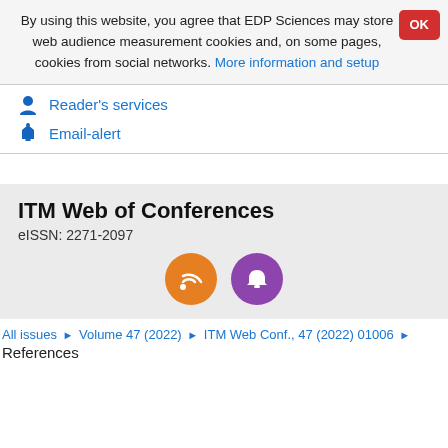By using this website, you agree that EDP Sciences may store web audience measurement cookies and, on some pages, cookies from social networks. More information and setup
Reader's services
Email-alert
ITM Web of Conferences
eISSN: 2271-2097
All issues ▶ Volume 47 (2022) ▶ ITM Web Conf., 47 (2022) 01006 ▶
References